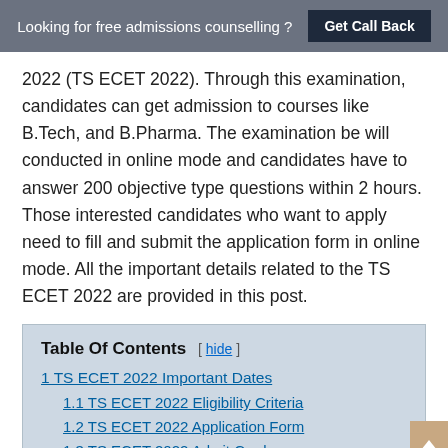Looking for free admissions counselling ? Get Call Back
2022 (TS ECET 2022). Through this examination, candidates can get admission to courses like B.Tech, and B.Pharma. The examination be will conducted in online mode and candidates have to answer 200 objective type questions within 2 hours. Those interested candidates who want to apply need to fill and submit the application form in online mode. All the important details related to the TS ECET 2022 are provided in this post.
| Table Of Contents |
| --- |
| 1 TS ECET 2022 Important Dates |
| 1.1 TS ECET 2022 Eligibility Criteria |
| 1.2 TS ECET 2022 Application Form |
| 1.3 TS ECET 2022 Admit Card |